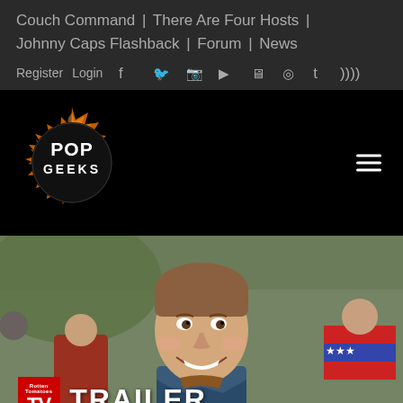Couch Command | There Are Four Hosts | Johnny Caps Flashback | Forum | News
Register  Login
[Figure (logo): Pop Geeks logo: circular orange flame ring with black circle inside containing white bold text POP GEEKS]
[Figure (photo): Smiling man with short brown hair outdoors in a crowd, with a Rotten Tomatoes TV TRAILER badge overlay in lower left corner]